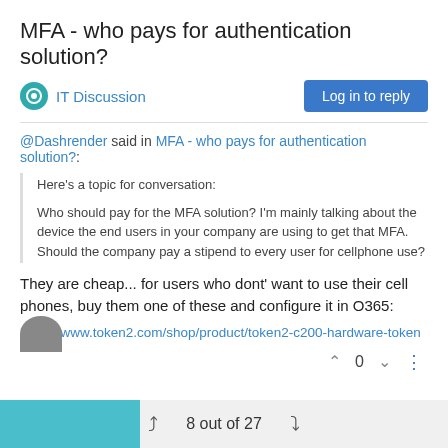MFA - who pays for authentication solution?
IT Discussion
@Dashrender said in MFA - who pays for authentication solution?:
Here's a topic for conversation:

Who should pay for the MFA solution? I'm mainly talking about the device the end users in your company are using to get that MFA. Should the company pay a stipend to every user for cellphone use?
They are cheap... for users who dont' want to use their cell phones, buy them one of these and configure it in O365:
https://www.token2.com/shop/product/token2-c200-hardware-token
8 out of 27